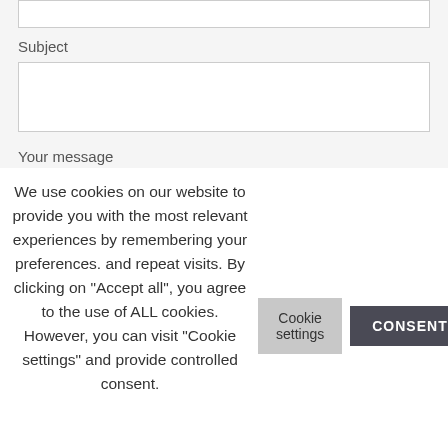Subject
Your message
We use cookies on our website to provide you with the most relevant experiences by remembering your preferences. and repeat visits. By clicking on "Accept all", you agree to the use of ALL cookies. However, you can visit "Cookie settings" and provide controlled consent.